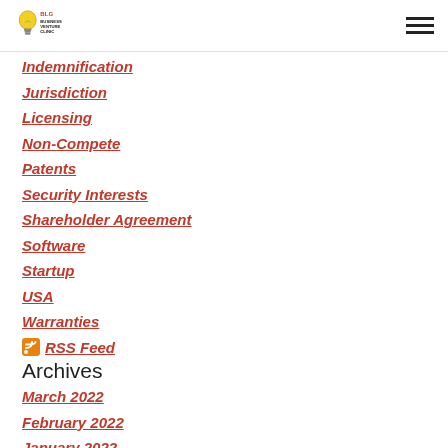BLG Business Venture Clinic
Indemnification
Jurisdiction
Licensing
Non-Compete
Patents
Security Interests
Shareholder Agreement
Software
Startup
USA
Warranties
RSS Feed
Archives
March 2022
February 2022
January 2022